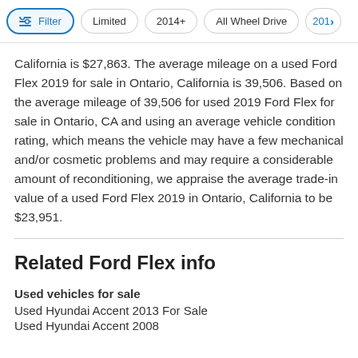Filter | Limited | 2014+ | All Wheel Drive | 201>
California is $27,863. The average mileage on a used Ford Flex 2019 for sale in Ontario, California is 39,506. Based on the average mileage of 39,506 for used 2019 Ford Flex for sale in Ontario, CA and using an average vehicle condition rating, which means the vehicle may have a few mechanical and/or cosmetic problems and may require a considerable amount of reconditioning, we appraise the average trade-in value of a used Ford Flex 2019 in Ontario, California to be $23,951.
Related Ford Flex info
Used vehicles for sale
Used Hyundai Accent 2013 For Sale
Used Hyundai Accent 2008